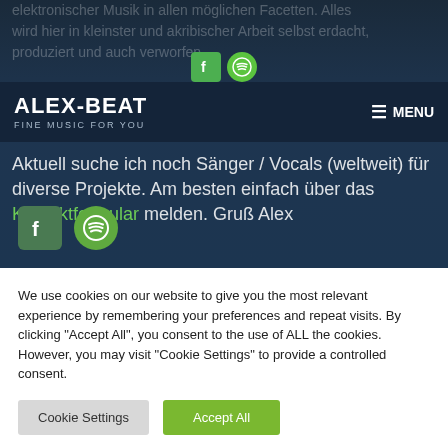elektronischer Musik in allen möglichen Facetten. Alles wird hier in kleinster und akribischer Arbeit selbst erdacht, produziert und auch verworfen.
ALEX-BEAT
FINE MUSIC FOR YOU
Aktuell suche ich noch Sänger / Vocals (weltweit) für diverse Projekte. Am besten einfach über das Kontaktformular melden. Gruß Alex
[Figure (logo): Facebook and Spotify social icons in navigation bar]
[Figure (logo): Facebook and Spotify social icons in footer of dark section]
We use cookies on our website to give you the most relevant experience by remembering your preferences and repeat visits. By clicking "Accept All", you consent to the use of ALL the cookies. However, you may visit "Cookie Settings" to provide a controlled consent.
Cookie Settings
Accept All